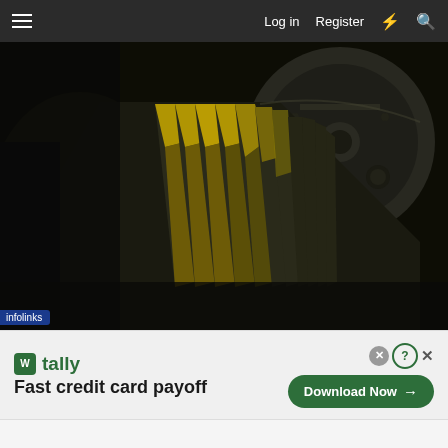☰   Log in   Register   ⚡   🔍
[Figure (photo): Close-up photograph of mechanical gears/sprockets with yellow paint markings on dark metal teeth, appears to be automotive or industrial machinery]
infolinks
[Figure (infographic): Advertisement banner for Tally app: 'tally — Fast credit card payoff' with a green Download Now button and close/question icons]